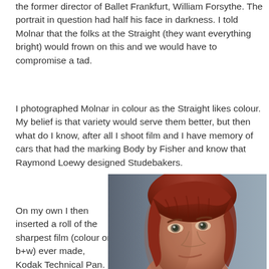the former director of Ballet Frankfurt, William Forsythe. The portrait in question had half his face in darkness. I told Molnar that the folks at the Straight (they want everything bright) would frown on this and we would have to compromise a tad.
I photographed Molnar in colour as the Straight likes colour. My belief is that variety would serve them better, but then what do I know, after all I shoot film and I have memory of cars that had the marking Body by Fisher and know that Raymond Loewy designed Studebakers.
On my own I then inserted a roll of the sharpest film (colour or b+w) ever made, Kodak Technical Pan. It is a b+w film with an extended rod
[Figure (photo): Close-up portrait photo of a woman with auburn/red hair with bangs, facing slightly to the right, photographed against a grey/dark background. The photo is cropped to show her face and upper shoulders.]